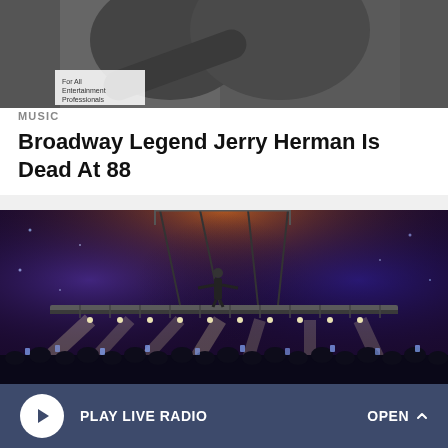[Figure (photo): Two people embracing at what appears to be an entertainment or industry event, cropped at the top]
MUSIC
Broadway Legend Jerry Herman Is Dead At 88
[Figure (photo): Concert performer standing on a suspended platform above a crowd, dramatic lighting with purple and orange hues, crowd visible below with phones raised]
PLAY LIVE RADIO
OPEN ^